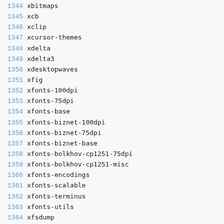1344 xbitmaps
1345 xcb
1346 xclip
1347 xcursor-themes
1348 xdelta
1349 xdelta3
1350 xdesktopwaves
1351 xfig
1352 xfonts-100dpi
1353 xfonts-75dpi
1354 xfonts-base
1355 xfonts-biznet-100dpi
1356 xfonts-biznet-75dpi
1357 xfonts-biznet-base
1358 xfonts-bolkhov-cp1251-75dpi
1359 xfonts-bolkhov-cp1251-misc
1360 xfonts-encodings
1361 xfonts-scalable
1362 xfonts-terminus
1363 xfonts-utils
1364 xfsdump
1365 xfsprogs
1366 xinetd
1367 xjed
1368 xkb-data
1369 xkbset
1370 ...